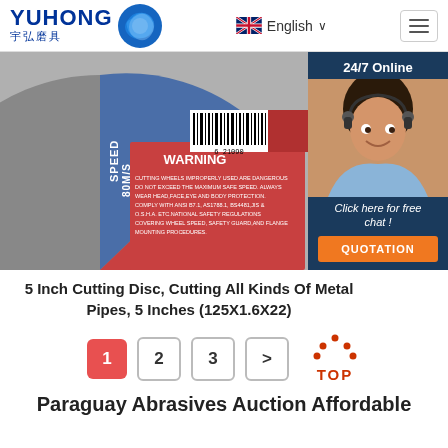[Figure (logo): Yuhong abrasives company logo with Chinese characters 宇弘磨具 and blue wave icon]
[Figure (screenshot): Navigation bar with English language selector and hamburger menu]
[Figure (photo): 5 inch cutting disc product photo showing red and blue disc with WARNING label, barcode, speed 80M/S marking, and 24/7 online chat widget with customer service representative]
5 Inch Cutting Disc, Cutting All Kinds Of Metal Pipes, 5 Inches (125X1.6X22)
[Figure (infographic): Pagination controls showing pages 1, 2, 3 and next arrow, plus TOP navigation icon in red]
Paraguay Abrasives Auction Affordable